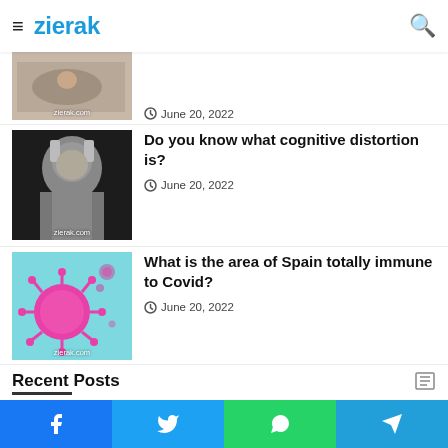zierak
infections, the upcoming pandemic
How to get into this discipline?
[Figure (photo): Person doing yoga/stretching pose on floor, zierak.com watermark]
June 20, 2022
[Figure (photo): Person with hands on head, cognitive distortion concept, zierak.com watermark]
Do you know what cognitive distortion is?
June 20, 2022
[Figure (photo): COVID-19 virus illustration on blue background, zierak.com watermark]
What is the area of Spain totally immune to Covid?
June 20, 2022
Recent Posts
[Figure (illustration): Doctor with kidney illustration on green background]
World Kidney Cancer Day 2021, the prevalence of this disease
Facebook  Twitter  WhatsApp  Telegram